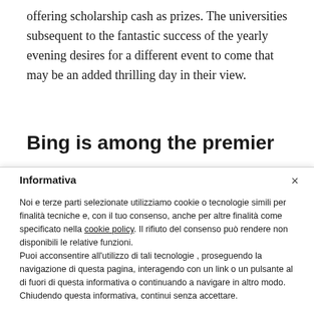offering scholarship cash as prizes. The universities subsequent to the fantastic success of the yearly evening desires for a different event to come that may be an added thrilling day in their view.
Bing is among the premier
Informativa
Noi e terze parti selezionate utilizziamo cookie o tecnologie simili per finalità tecniche e, con il tuo consenso, anche per altre finalità come specificato nella cookie policy. Il rifiuto del consenso può rendere non disponibili le relative funzioni.
Puoi acconsentire all'utilizzo di tali tecnologie , proseguendo la navigazione di questa pagina, interagendo con un link o un pulsante al di fuori di questa informativa o continuando a navigare in altro modo. Chiudendo questa informativa, continui senza accettare.